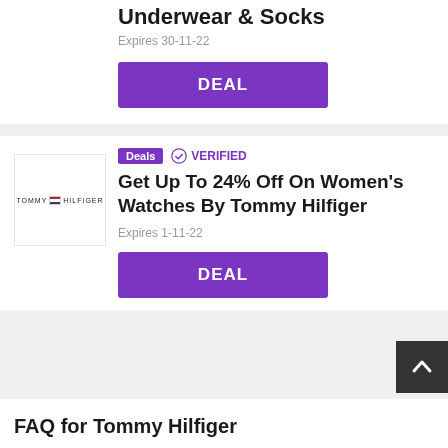Underwear & Socks
Expires 30-11-22
DEAL
Deals  VERIFIED
Get Up To 24% Off On Women's Watches By Tommy Hilfiger
Expires 1-11-22
DEAL
FAQ for Tommy Hilfiger